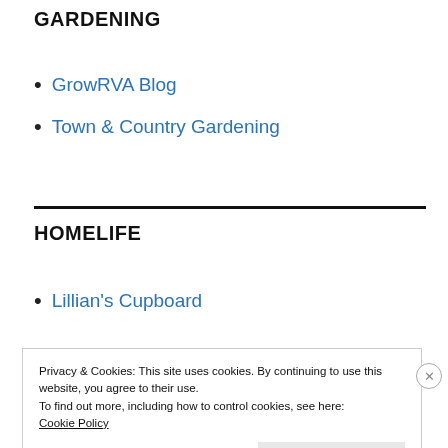GARDENING
GrowRVA Blog
Town & Country Gardening
HOMELIFE
Lillian's Cupboard
Privacy & Cookies: This site uses cookies. By continuing to use this website, you agree to their use.
To find out more, including how to control cookies, see here:
Cookie Policy
Close and accept